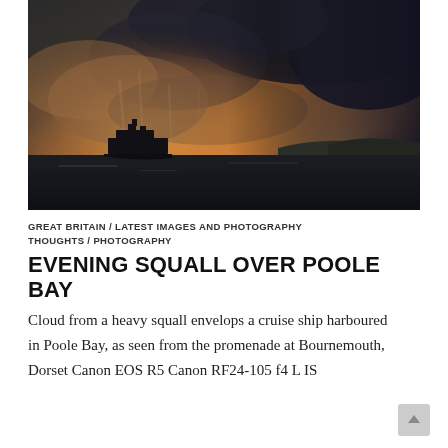[Figure (photo): Dramatic seascape photograph showing a cruise ship silhouetted against a stormy sky over Poole Bay. Dark storm clouds dominate the upper portion, with golden-amber light breaking through on the left side. The sea is dark in the foreground, with distant hills visible on the right horizon.]
GREAT BRITAIN / LATEST IMAGES AND PHOTOGRAPHY THOUGHTS / PHOTOGRAPHY
EVENING SQUALL OVER POOLE BAY
Cloud from a heavy squall envelops a cruise ship harboured in Poole Bay, as seen from the promenade at Bournemouth, Dorset Canon EOS R5 Canon RF24-105 f4 L IS